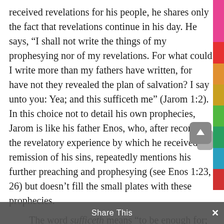received revelations for his people, he shares only the fact that revelations continue in his day. He says, “I shall not write the things of my prophesying nor of my revelations. For what could I write more than my fathers have written, for have not they revealed the plan of salvation? I say unto you: Yea; and this sufficeth me” (Jarom 1:2). In this choice not to detail his own prophecies, Jarom is like his father Enos, who, after recording the revelatory experience by which he received a remission of his sins, repeatedly mentions his further preaching and prophesying (see Enos 1:23, 26) but doesn’t fill the small plates with these prophecies.
The word sufficeth means “to be enough for; to meet the desires, needs, or requirements of (a person); to satisfy.”²⁷ In light of Jarom’s multiple references to the smallness of the plates, the few words he could